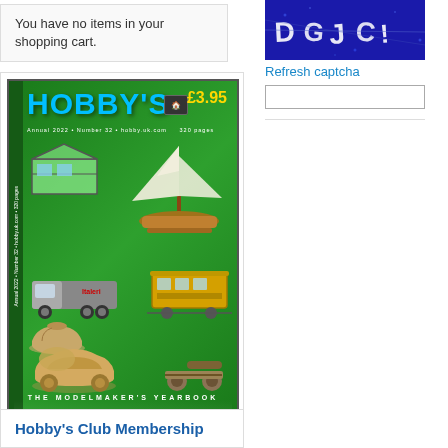You have no items in your shopping cart.
[Figure (photo): Hobby's catalogue magazine cover - green background with model ships, trucks, trams, cars on display. Title reads HOBBY'S, price £3.95, subtitle THE MODELMAKER'S YEARBOOK]
[Figure (photo): CAPTCHA image - dark blue background with distorted white text letters for security verification]
Refresh captcha
Hobby's Club Membership